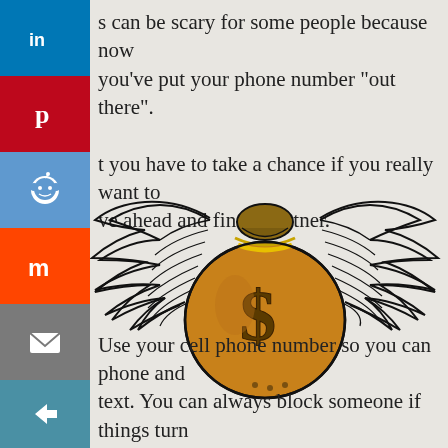[Figure (illustration): Social media sharing sidebar with LinkedIn, Pinterest, Reddit, Mix, Email, and share buttons on the left side]
s can be scary for some people because now you've put your phone number “out there”. t you have to take a chance if you really want to ve ahead and find a partner.
[Figure (illustration): Drawing of a money bag with wings and a dollar sign, illustrated in black ink with golden-brown coloring]
Use your cell phone number so you can phone and text. You can always block someone if things turn